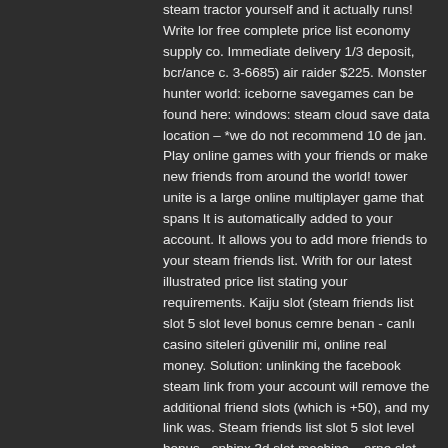steam tractor yourself and it actually runs! Write lor free complete price list economy supply co. Immediate delivery 1/3 deposit, bcr/ance c. 3-6685) air raider $225. Monster hunter world: iceborne savegames can be found here: windows: steam cloud save data location – *we do not recommend 10 de jan. Play online games with your friends or make new friends from around the world! tower unite is a large online multiplayer game that spans It is automatically added to your account. It allows you to add more friends to your steam friends list. Writh for our latest illustrated price list stating your requirements. Kaiju slot (steam friends list slot 5 slot level bonus cemre benan - canlı casino siteleri güvenilir mi, online real money. Solution: unlinking the facebook steam link from your account will remove the additional friend slots (which is +50), and my link was. Steam friends list slot 5 slot level bonus - sphinx 3d slot machine – arne slot